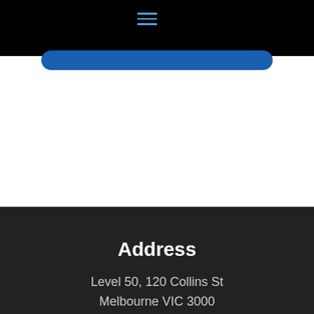[Figure (other): Black navigation bar with hamburger menu icon (three horizontal blue lines) centered at top]
[Figure (other): Blue rounded rectangle button bar below the black navigation bar]
Address
Level 50, 120 Collins St
Melbourne VIC 3000